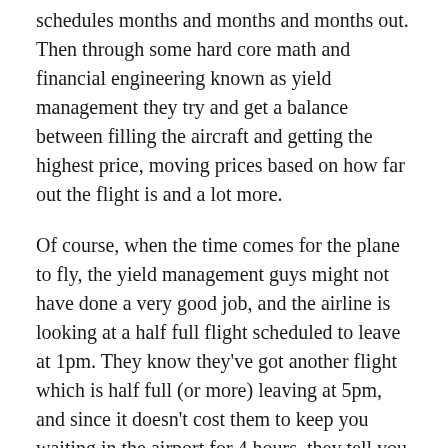schedules months and months and months out. Then through some hard core math and financial engineering known as yield management they try and get a balance between filling the aircraft and getting the highest price, moving prices based on how far out the flight is and a lot more.
Of course, when the time comes for the plane to fly, the yield management guys might not have done a very good job, and the airline is looking at a half full flight scheduled to leave at 1pm. They know they've got another flight which is half full (or more) leaving at 5pm, and since it doesn't cost them to keep you waiting in the airport for 4 hours, they tell you there's a mechanical problem with the aircraft and the 1pm flight is cancelled.
So you spend 4 hours waiting in the terminal, missing